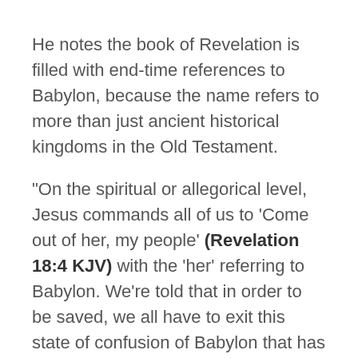He notes the book of Revelation is filled with end-time references to Babylon, because the name refers to more than just ancient historical kingdoms in the Old Testament.
“On the spiritual or allegorical level, Jesus commands all of us to ‘Come out of her, my people’ (Revelation 18:4 KJV) with the ‘her’ referring to Babylon. We’re told that in order to be saved, we all have to exit this state of confusion of Babylon that has permeated every aspect of today’s wicked society. The world system of confusion prompting us to rebel against our Creator is the Babylon of today.